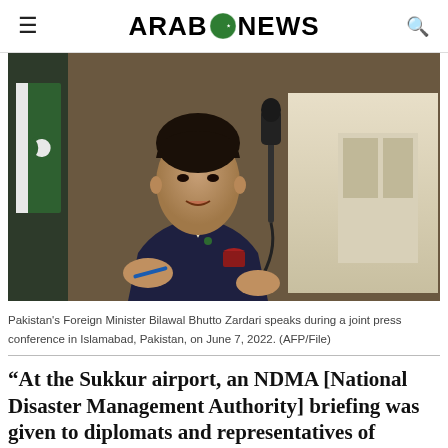ARAB NEWS
[Figure (photo): Pakistan's Foreign Minister Bilawal Bhutto Zardari speaks at a podium with a microphone during a joint press conference in Islamabad, Pakistan. He is wearing a dark suit with a green Pakistan flag pin and a red pocket square, gesturing with both hands.]
Pakistan's Foreign Minister Bilawal Bhutto Zardari speaks during a joint press conference in Islamabad, Pakistan, on June 7, 2022. (AFP/File)
“At the Sukkur airport, an NDMA [National Disaster Management Authority] briefing was given to diplomats and representatives of